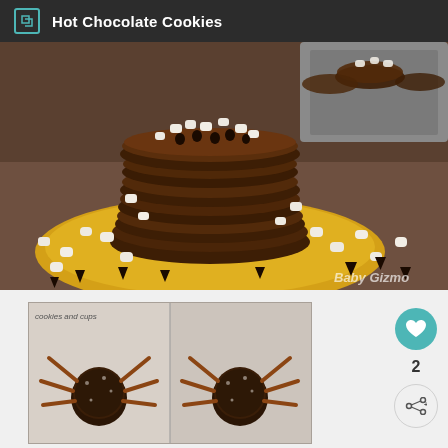Hot Chocolate Cookies
[Figure (photo): Stack of hot chocolate cookies with mini marshmallows and chocolate chips on a yellow plate, with Baby Gizmo watermark]
[Figure (photo): Split image from cookiesandcups showing a spider-shaped chocolate cookie/cake pop made with pretzel sticks as legs]
2